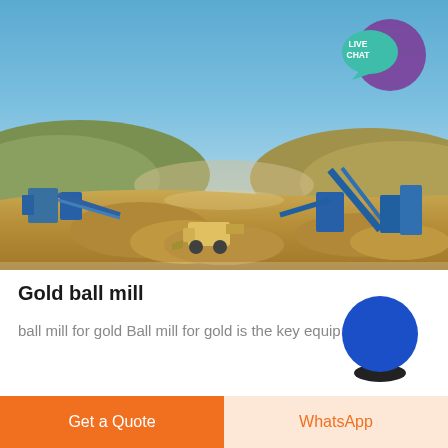[Figure (photo): Panoramic view of an open-air mining/quarry site with blue sky, hills, heavy machinery including a front-end loader and conveyor systems, large piles of crushed rock and earth.]
Gold ball mill
ball mill for gold Ball mill for gold is the key equip...